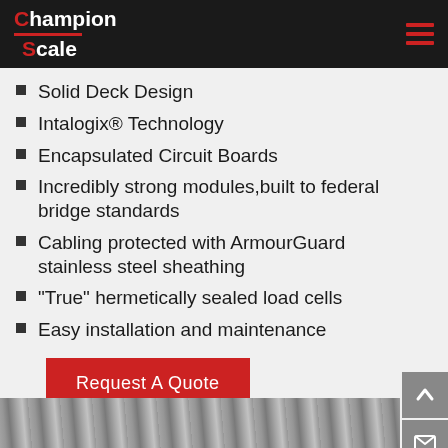Champion Scale
Solid Deck Design
Intalogix® Technology
Encapsulated Circuit Boards
Incredibly strong modules,built to federal bridge standards
Cabling protected with ArmourGuard stainless steel sheathing
"True" hermetically sealed load cells
Easy installation and maintenance
Request A Quote
[Figure (photo): Close-up photo of cables or metal components, partially visible at bottom of page]